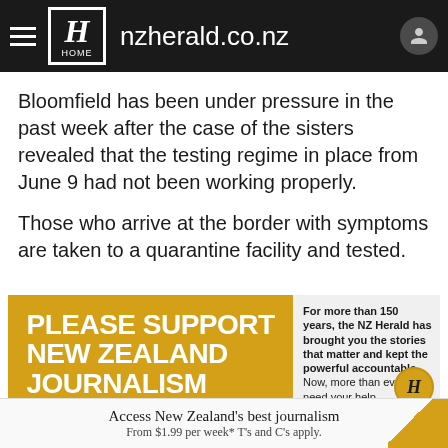nzherald.co.nz
Bloomfield has been under pressure in the past week after the case of the sisters revealed that the testing regime in place from June 9 had not been working properly.
Those who arrive at the border with symptoms are taken to a quarantine facility and tested.
[Figure (infographic): NZ Herald promotional banner: 'PLEASE SUPPORT NEW ZEALAND JOURNALISM' in white bold text on gold/yellow background. Right side text: 'For more than 150 years, the NZ Herald has brought you the stories that matter and kept the powerful accountable. Now, more than ever, we need your help'. NZ Herald logo circle at bottom right. Tagline bar: 'TRUSTWORTHY · INSIGHTFUL · IMPORTANT · EXCLUSIVE']
Access New Zealand's best journalism
From $1.99 per week* T's and C's apply.